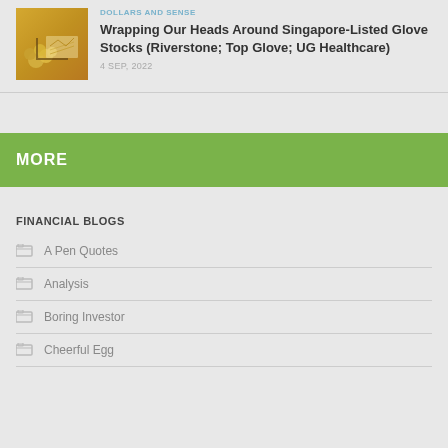DOLLARS AND SENSE
Wrapping Our Heads Around Singapore-Listed Glove Stocks (Riverstone; Top Glove; UG Healthcare)
4 SEP, 2022
MORE
FINANCIAL BLOGS
A Pen Quotes
Analysis
Boring Investor
Cheerful Egg